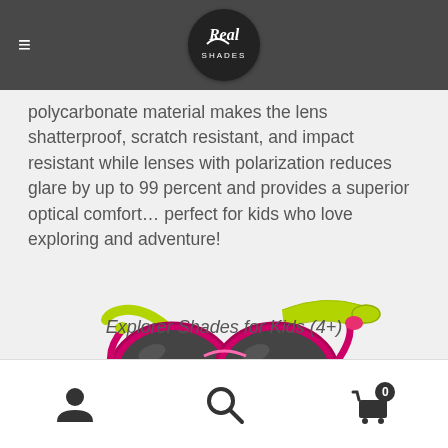Real Shades
polycarbonate material makes the lens shatterproof, scratch resistant, and impact resistant while lenses with polarization reduces glare by up to 99 percent and provides a superior optical comfort… perfect for kids who love exploring and adventure!
[Figure (photo): Pink children's sunglasses with lime green adjustable strap on a light gray background — Explorer Shades for Kids]
Explorer Shades for Kids (4+)
Navigation bar with user account icon, search icon, and shopping cart icon with 0 items